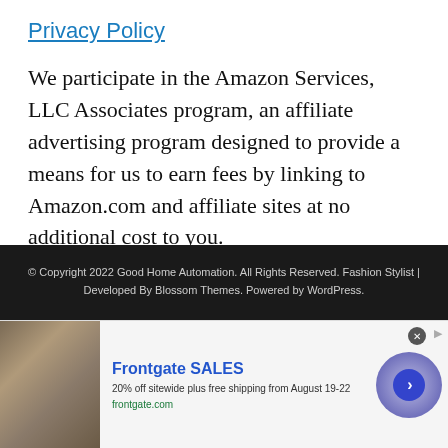Privacy Policy
We participate in the Amazon Services, LLC Associates program, an affiliate advertising program designed to provide a means for us to earn fees by linking to Amazon.com and affiliate sites at no additional cost to you.
© Copyright 2022 Good Home Automation. All Rights Reserved. Fashion Stylist | Developed By Blossom Themes. Powered by WordPress.
[Figure (other): Advertisement banner for Frontgate SALES showing outdoor furniture, text '20% off sitewide plus free shipping from August 19-22', URL 'frontgate.com', with a circular arrow button on the right]